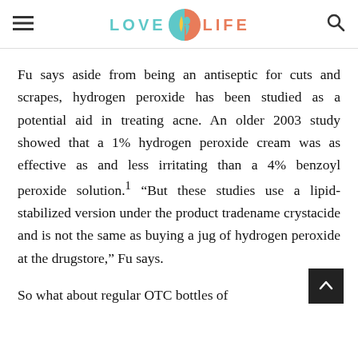LOVE LIFE
Fu says aside from being an antiseptic for cuts and scrapes, hydrogen peroxide has been studied as a potential aid in treating acne. An older 2003 study showed that a 1% hydrogen peroxide cream was as effective as and less irritating than a 4% benzoyl peroxide solution.1 “But these studies use a lipid-stabilized version under the product tradename crystacide and is not the same as buying a jug of hydrogen peroxide at the drugstore,” Fu says.
So what about regular OTC bottles of